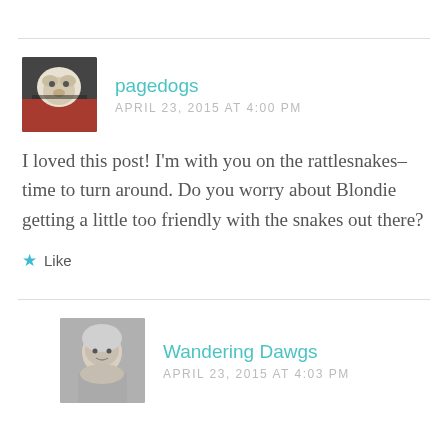[Figure (photo): Avatar of a white dog looking out from a car window, square thumbnail]
pagedogs
APRIL 23, 2015 AT 4:00 PM
I loved this post! I'm with you on the rattlesnakes–time to turn around. Do you worry about Blondie getting a little too friendly with the snakes out there?
Like
[Figure (photo): Avatar of an older woman with short white/grey hair, square thumbnail]
Wandering Dawgs
APRIL 23, 2015 AT 4:03 PM